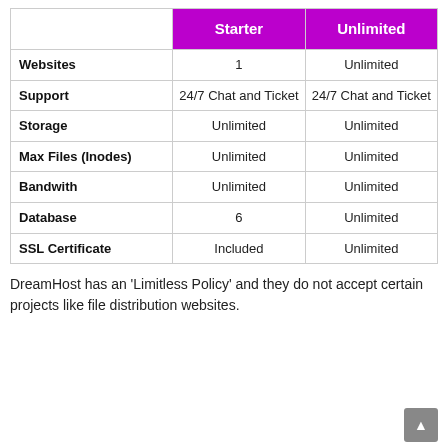|  | Starter | Unlimited |
| --- | --- | --- |
| Websites | 1 | Unlimited |
| Support | 24/7 Chat and Ticket | 24/7 Chat and Ticket |
| Storage | Unlimited | Unlimited |
| Max Files (Inodes) | Unlimited | Unlimited |
| Bandwith | Unlimited | Unlimited |
| Database | 6 | Unlimited |
| SSL Certificate | Included | Unlimited |
DreamHost has an 'Limitless Policy' and they do not accept certain projects like file distribution websites.